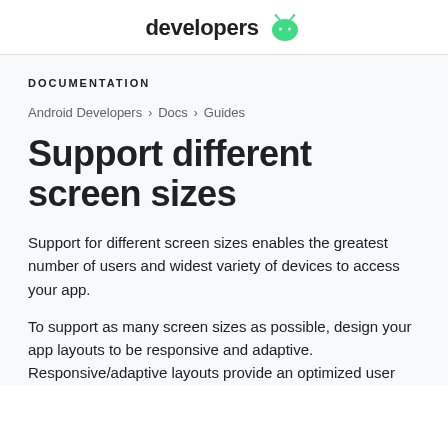developers
DOCUMENTATION
Android Developers > Docs > Guides
Support different screen sizes
Support for different screen sizes enables the greatest number of users and widest variety of devices to access your app.
To support as many screen sizes as possible, design your app layouts to be responsive and adaptive. Responsive/adaptive layouts provide an optimized user